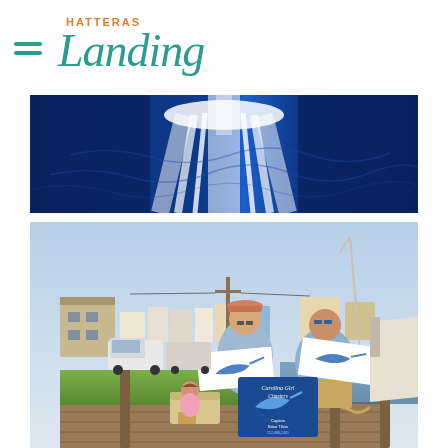Hatteras Landing
[Figure (photo): Close-up overhead view of deep blue ocean water with white wake/spray from a boat]
[Figure (photo): Two men standing on a marina dock holding up fishing tournament flags/towels with marlin graphics. A banner for Carolina Girl Charters is visible between them. A young girl sits on an ice chest in the background. Boats and coastal buildings visible behind them.]